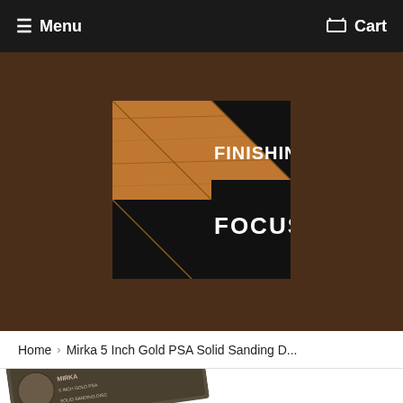Menu   Cart
[Figure (logo): Finishing Focus logo: a square with wood-grain border forming an F shape, black background with white text reading FINISHING FOCUS]
Home › Mirka 5 Inch Gold PSA Solid Sanding D...
[Figure (photo): Partial view of a Mirka 5 Inch Gold PSA Solid Sanding Disc product package, partially visible at bottom of page]